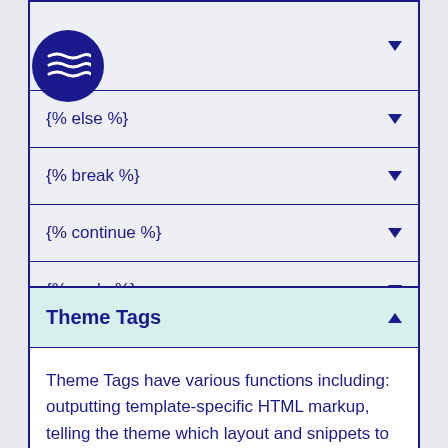{% %}
{% else %}
{% break %}
{% continue %}
{% cycle %}
{% tablerow %}
Theme Tags
Theme Tags have various functions including: outputting template-specific HTML markup, telling the theme which layout and snippets to use, and splitting a returned array into multiple pages. Learn more